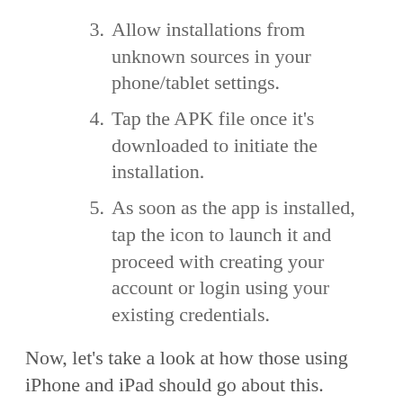3. Allow installations from unknown sources in your phone/tablet settings.
4. Tap the APK file once it’s downloaded to initiate the installation.
5. As soon as the app is installed, tap the icon to launch it and proceed with creating your account or login using your existing credentials.
Now, let’s take a look at how those using iPhone and iPad should go about this.
1. Either go directly to the App Store or follow the link on the BetMGM site that will take you there.
2. Tap “Get” to begin downloading the app.
3. The second the app is installed, tap the icon to launch it.
4. If you already have an account, log in using your